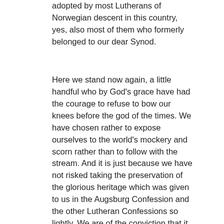adopted by most Lutherans of Norwegian descent in this country, yes, also most of them who formerly belonged to our dear Synod.
Here we stand now again, a little handful who by God's grace have had the courage to refuse to bow our knees before the god of the times. We have chosen rather to expose ourselves to the world's mockery and scorn rather than to follow with the stream. And it is just because we have not risked taking the preservation of the glorious heritage which was given to us in the Augsburg Confession and the other Lutheran Confessions so lightly. We are of the conviction that it is not enough merely to adopt these Confessions formally, and that it is not a sufficient guarantee for unity of faith, that someone has merely adopted them formally, but that it is our duty conscientiously to examine who really is faithful to these Confessions. And it is possible for us to learn that; because by their fruits we can know them who are faithful, as well as them who are unfaithful to the Confessions.